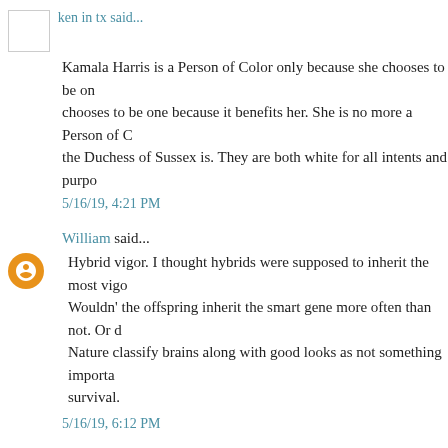ken in tx said...
Kamala Harris is a Person of Color only because she chooses to be one because it benefits her. She is no more a Person of Color than the Duchess of Sussex is. They are both white for all intents and purposes.
5/16/19, 4:21 PM
William said...
Hybrid vigor. I thought hybrids were supposed to inherit the most vigorous traits. Wouldn't the offspring inherit the smart gene more often than not. Or does Mother Nature classify brains along with good looks as not something important to survival.
5/16/19, 6:12 PM
narciso said...
and that and the saraghi incident related in the kesari film, describes the forever war nature of this conflict, both happening in 1897, one in Afghanistan proper, the other in Pakistan.